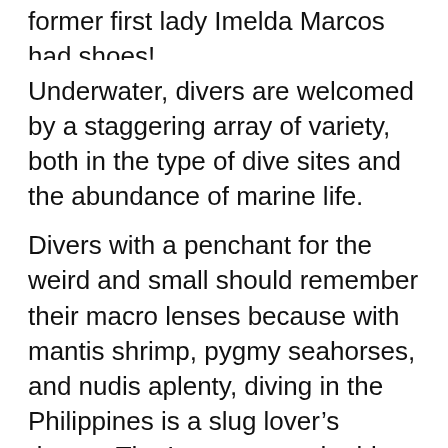Philippines boasts nearly as many dive sites as former first lady Imelda Marcos had shoes!
Underwater, divers are welcomed by a staggering array of variety, both in the type of dive sites and the abundance of marine life.
Divers with a penchant for the weird and small should remember their macro lenses because with mantis shrimp, pygmy seahorses, and nudis aplenty, diving in the Philippines is a slug lover’s dream. That’s not to say the big stuff isn’t here, it certainly is. Mantas, sharks, mola mola, rays and pelagic hunters all frequent the region.
On land, the people are as warm and welcoming as the waters. With white sand beaches, excellent food